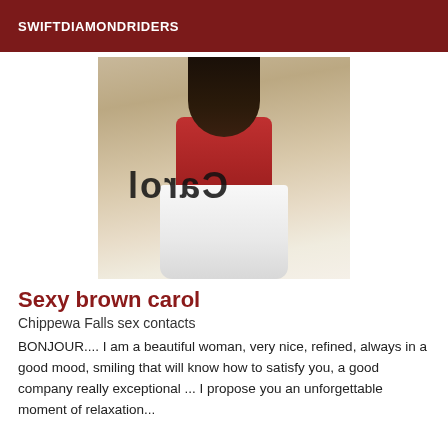SWIFTDIAMONDRIDERS
[Figure (photo): Photo of a woman from behind wearing a red top and white shorts, with a mirrored watermark text 'Carol' overlaid on the image.]
Sexy brown carol
Chippewa Falls sex contacts
BONJOUR.... I am a beautiful woman, very nice, refined, always in a good mood, smiling that will know how to satisfy you, a good company really exceptional ... I propose you an unforgettable moment of relaxation...